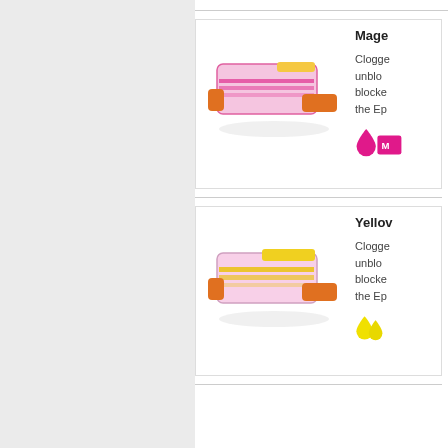[Figure (photo): Magenta ink cartridge product listing with pink/magenta ink drop badge]
[Figure (photo): Yellow ink cartridge product listing with yellow ink drop badge]